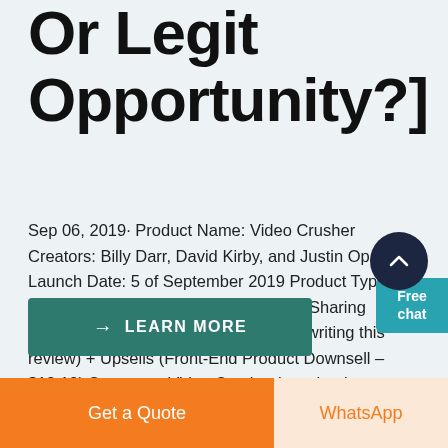Or Legit Opportunity?]
Sep 06, 2019· Product Name: Video Crusher Creators: Billy Darr, David Kirby, and Justin Opay Launch Date: 5 of September 2019 Product Type: Cloud-based Video Making and Video Sharing Software Price: $18.19 (At the time of writing this review) + Upsells (Front-End Product Downsell – $13.19) Summary: Video Crusher is a cloud-based software. Using this software you creat ps ...